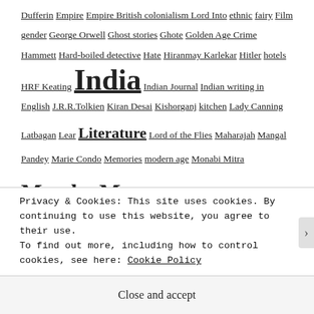Dufferin Empire Empire British colonialism Lord Into ethnic fairy Film gender George Orwell Ghost stories Ghote Golden Age Crime Hammett Hard-boiled detective Hate Hiranmay Karlekar Hitler hotels HRF Keating India Indian Journal Indian writing in English J.R.R.Tolkien Kiran Desai Kishorganj kitchen Lady Canning Latbagan Lear Literature Lord of the Flies Maharajah Mangal Pandey Marie Condo Memories modern age Monabi Mitra Murder Mystery myth Nineteenth century travellers in India Nirad Chaudhuri nostalgia objects and stories Our Mother's House Peter Singer poverty race railways Raj Rambagan Dutts Robert Westall Salman Khan Soumen Mitra Steam engine Strays Supernaturalism Swami Vivekanda State Police Academy Tagore Tagore's
Privacy & Cookies: This site uses cookies. By continuing to use this website, you agree to their use.
To find out more, including how to control cookies, see here: Cookie Policy
Close and accept